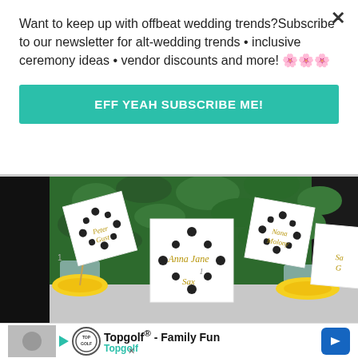Want to keep up with offbeat wedding trends?Subscribe to our newsletter for alt-wedding trends • inclusive ceremony ideas • vendor discounts and more! 🌸🌸🌸
EFF YEAH SUBSCRIBE ME!
[Figure (photo): Wedding place cards with names written in script (Anna Jane Sax, Peter Gust, Nana Molony, Sa G) displayed on white diamond-shaped cards held upright by toothpicks in lemon slices in glass cups, set against green foliage background.]
Topgolf® - Family Fun Topgolf